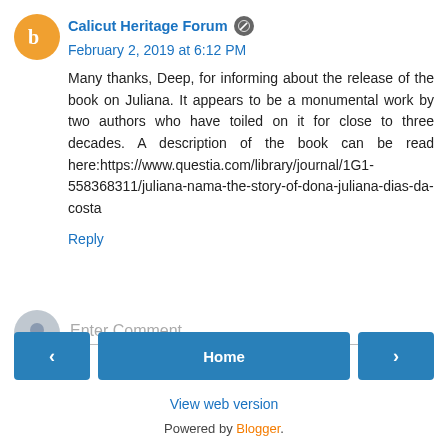Calicut Heritage Forum · February 2, 2019 at 6:12 PM
Many thanks, Deep, for informing about the release of the book on Juliana. It appears to be a monumental work by two authors who have toiled on it for close to three decades. A description of the book can be read here:https://www.questia.com/library/journal/1G1-558368311/juliana-nama-the-story-of-dona-juliana-dias-da-costa
Reply
Enter Comment
Home
View web version
Powered by Blogger.